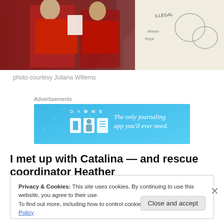[Figure (photo): Two students in red shirts standing in front of a whiteboard with drawings and text including the word ILLEGAL]
photo courtesy Juliana Willems
Advertisements
[Figure (screenshot): Day One app advertisement banner: 'The only journaling app you'll ever need.']
I met up with Catalina — and rescue coordinator Heather
Privacy & Cookies: This site uses cookies. By continuing to use this website, you agree to their use.
To find out more, including how to control cookies, see here: Cookie Policy
Close and accept